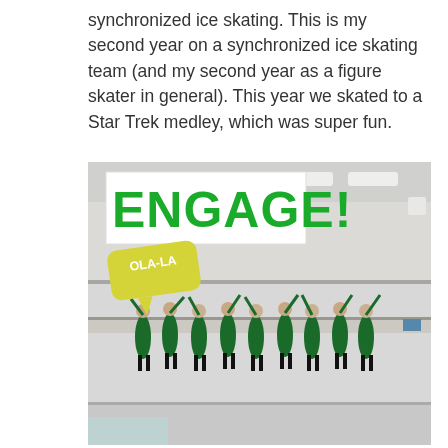synchronized ice skating. This is my second year on a synchronized ice skating team (and my second year as a figure skater in general). This year we skated to a Star Trek medley, which was super fun.
[Figure (photo): Photo of a synchronized ice skating team performing on an ice rink. Multiple skaters in green and black costumes are in a line with arms raised. The photo has overlaid graphic elements: a white box with bold green text reading 'ENGAGE!' and a yellow speech bubble with white text reading 'OLA-LA'.]